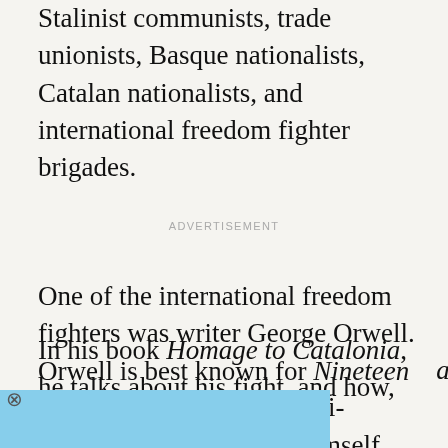Stalinist communists, trade unionists, Basque nationalists, Catalan nationalists, and international freedom fighter brigades.
ADVERTISEMENT
One of the international freedom fighters was writer George Orwell. Orwell is best known for Nineteen Eighty-Four and Animal Farm, which are often read as anti-communist. But Orwell himself was a democratic socialist, and he fought for a socialist side in the war.
[Figure (photo): Advertisement overlay showing 'JANGA BUS' text on a desert landscape photo with a vehicle in sand dunes, with a close button]
In his book Homage to Catalonia, he talks about his fight, and how, as the war progressed, the left-wing coalition began to crumble. The anarchists and